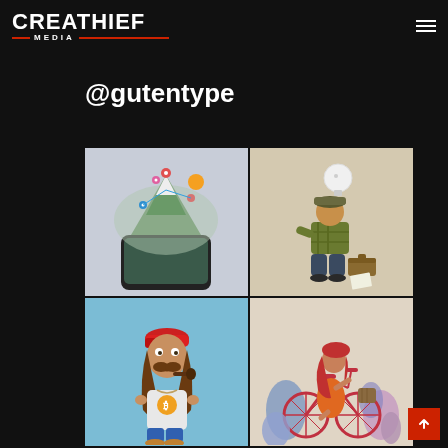CREATHIEF MEDIA
@gutentype
[Figure (illustration): 3D isometric illustration of a smartphone with a mountain landscape, location pins, and miniature figures on the screen]
[Figure (illustration): Illustration of a person in a cap and plaid shirt sitting hunched over a toolbox, with a light bulb above their head]
[Figure (illustration): Cartoon character of a mustachioed man wearing a red cap and white outfit with a Bitcoin medal, smoking a pipe]
[Figure (illustration): Illustration of a woman with red hair riding a bicycle surrounded by colorful plants and flowers]